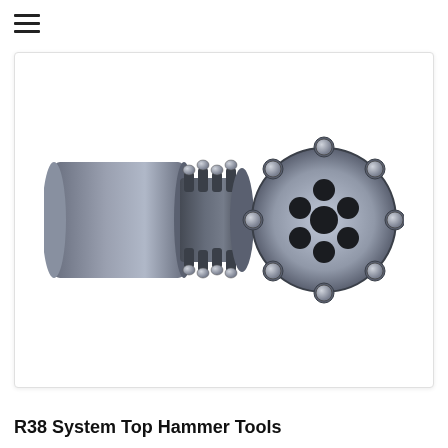[Figure (illustration): 3D illustration of a top hammer drill bit (R38 system). On the left, a side view showing a cylindrical shank attached to a button bit head with multiple carbide buttons arranged around the crown and face. On the right, a front/face view of the same button bit showing 5 large carbide inserts in the center and approximately 8 smaller buttons arranged around the periphery. The tool is rendered in dark steel-grey with metallic shading.]
R38 System Top Hammer Tools